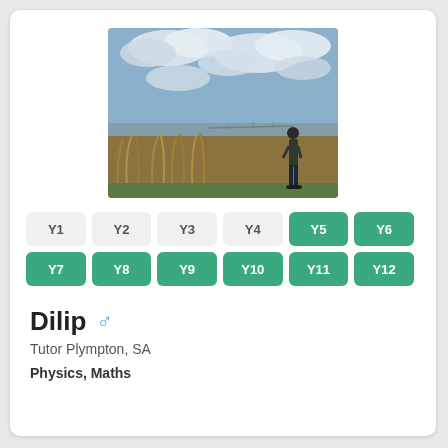[Figure (photo): Outdoor photo of a man standing in tall grass/reeds near a waterway with a bridge in the background, under a partly cloudy sky.]
Y1 Y2 Y3 Y4 Y5 Y6 Y7 Y8 Y9 Y10 Y11 Y12
Dilip
Tutor Plympton, SA
Physics, Maths